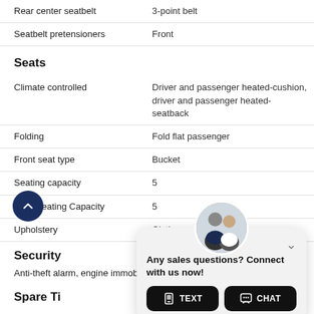| Feature | Value |
| --- | --- |
| Rear center seatbelt | 3-point belt |
| Seatbelt pretensioners | Front |
Seats
| Feature | Value |
| --- | --- |
| Climate controlled | Driver and passenger heated-cushion, driver and passenger heated-seatback |
| Folding | Fold flat passenger |
| Front seat type | Bucket |
| Seating capacity | 5 |
| Total Seating Capacity | 5 |
| Upholstery | Cloth |
Security
Anti-theft alarm, engine immobilizer
Spare Ti
[Figure (infographic): Chat overlay popup with avatar photo of two support agents, text 'Any sales questions? Connect with us now!' and two buttons: TEXT and CHAT]